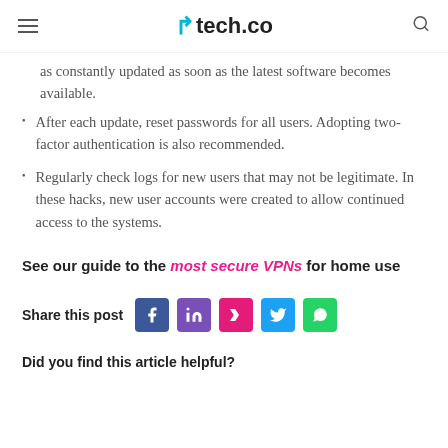tech.co
as constantly updated as soon as the latest software becomes available.
After each update, reset passwords for all users. Adopting two-factor authentication is also recommended.
Regularly check logs for new users that may not be legitimate. In these hacks, new user accounts were created to allow continued access to the systems.
See our guide to the most secure VPNs for home use
Share this post
Did you find this article helpful?